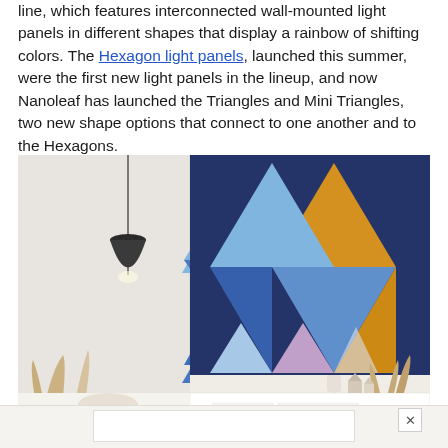line, which features interconnected wall-mounted light panels in different shapes that display a rainbow of shifting colors. The Hexagon light panels, launched this summer, were the first new light panels in the lineup, and now Nanoleaf has launched the Triangles and Mini Triangles, two new shape options that connect to one another and to the Hexagons.
[Figure (photo): Photo of Nanoleaf Shapes light panels mounted on a dark navy blue wall. The panels are triangular in shape, displaying colors of blue (light and medium), orange/gold, and light pink/lavender. They are arranged in an abstract star/arrow-like pattern. To the left is a white wall with a pendant lamp hanging down. In the foreground is a white sideboard/credenza with decorative items including dried pampas grass, small wooden house figurines, and a white vase. A close/X button appears in the lower right corner.]